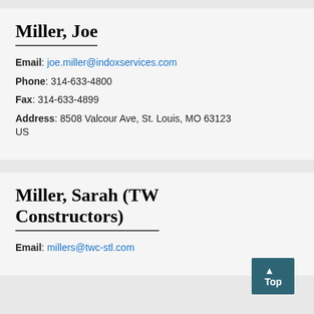Miller, Joe
Email: joe.miller@indoxservices.com
Phone: 314-633-4800
Fax: 314-633-4899
Address: 8508 Valcour Ave, St. Louis, MO 63123 US
Miller, Sarah (TW Constructors)
Email: millers@twc-stl.com